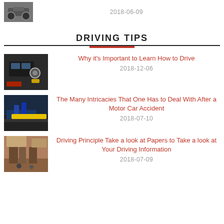[Figure (photo): Motorcycle photo thumbnail]
2018-06-09
DRIVING TIPS
[Figure (photo): Car interior/gear shift photo thumbnail]
Why it's Important to Learn How to Drive
2018-12-06
[Figure (photo): Motor accident scene photo thumbnail]
The Many Intricacies That One Has to Deal With After a Motor Car Accident
2018-07-10
[Figure (photo): People standing on road photo thumbnail]
Driving Principle Take a look at Papers to Take a look at Your Driving Information
2018-07-09